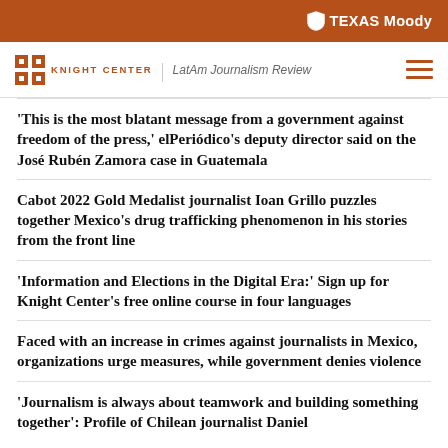TEXAS Moody
KNIGHT CENTER | LatAm Journalism Review
'This is the most blatant message from a government against freedom of the press,' elPeriódico's deputy director said on the José Rubén Zamora case in Guatemala
Cabot 2022 Gold Medalist journalist Ioan Grillo puzzles together Mexico's drug trafficking phenomenon in his stories from the front line
'Information and Elections in the Digital Era:' Sign up for Knight Center's free online course in four languages
Faced with an increase in crimes against journalists in Mexico, organizations urge measures, while government denies violence
'Journalism is always about teamwork and building something together': Profile of Chilean journalist Daniel